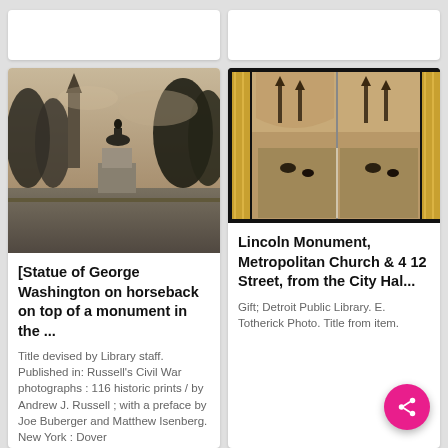[Figure (photo): Partial view of two white card tops from the row above, cut off at the top of the page]
[Figure (photo): Black and white photograph of a statue of George Washington on horseback on top of a monument, with a church steeple and trees in the background]
[Statue of George Washington on horseback on top of a monument in the ...
Title devised by Library staff. Published in: Russell's Civil War photographs : 116 historic prints / by Andrew J. Russell ; with a preface by Joe Buberger and Matthew Isenberg. New York : Dover Publications and more
[Figure (photo): Stereoscopic photograph with yellow border showing a street scene with the Lincoln Monument, Metropolitan Church and 4 12 Street, viewed from City Hall]
Lincoln Monument, Metropolitan Church & 4 12 Street, from the City Hal...
Gift; Detroit Public Library. E. Totherick Photo. Title from item.